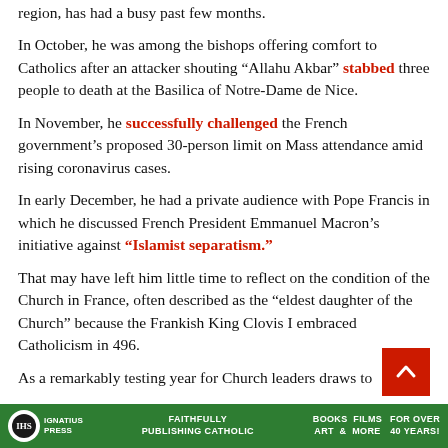region, has had a busy past few months.
In October, he was among the bishops offering comfort to Catholics after an attacker shouting “Allahu Akbar” stabbed three people to death at the Basilica of Notre-Dame de Nice.
In November, he successfully challenged the French government’s proposed 30-person limit on Mass attendance amid rising coronavirus cases.
In early December, he had a private audience with Pope Francis in which he discussed French President Emmanuel Macron’s initiative against “Islamist separatism.”
That may have left him little time to reflect on the condition of the Church in France, often described as the “eldest daughter of the Church” because the Frankish King Clovis I embraced Catholicism in 496.
As a remarkably testing year for Church leaders draws to
Ignatius Press — FAITHFULLY PUBLISHING CATHOLIC | BOOKS FILMS ART & MORE | FOR OVER 40 YEARS!